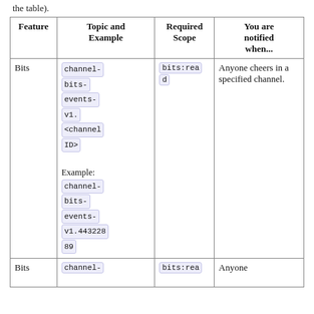the table).
| Feature | Topic and Example | Required Scope | You are notified when... |
| --- | --- | --- | --- |
| Bits | channel-bits-events-v1.<channelID>

Example: channel-bits-events-v1.44322889 | bits:read | Anyone cheers in a specified channel. |
| Bits | channel- | bits:rea | Anyone |